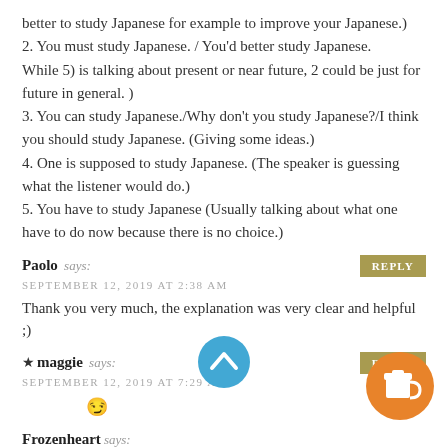better to study Japanese for example to improve your Japanese.) 2. You must study Japanese. / You'd better study Japanese. While 5) is talking about present or near future, 2 could be just for future in general. ) 3. You can study Japanese./Why don't you study Japanese?/I think you should study Japanese. (Giving some ideas.) 4. One is supposed to study Japanese. (The speaker is guessing what the listener would do.) 5. You have to study Japanese (Usually talking about what one have to do now because there is no choice.)
Paolo says: SEPTEMBER 12, 2019 AT 2:38 AM — REPLY
Thank you very much, the explanation was very clear and helpful ;)
★ maggie says: SEPTEMBER 12, 2019 AT 7:29 AM — REPLY
😏
Frozenheart says: JANUARY 3, 2019 AT 3:21 AM